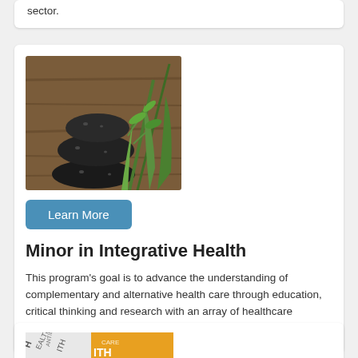sector.
[Figure (photo): Stacked black zen stones with green herbs and aloe on a wooden surface]
Learn More
Minor in Integrative Health
This program's goal is to advance the understanding of complementary and alternative health care through education, critical thinking and research with an array of healthcare professionals.
[Figure (photo): Health-related word cloud image with orange and white tones]